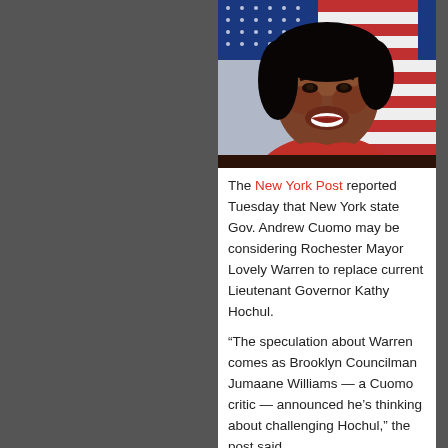[Figure (photo): Portrait photo of a smiling African American woman in a red jacket, with an American flag visible in the background. The photo is cropped to show from the shoulders up.]
The New York Post reported Tuesday that New York state Gov. Andrew Cuomo may be considering Rochester Mayor Lovely Warren to replace current Lieutenant Governor Kathy Hochul.
“The speculation about Warren comes as Brooklyn Councilman Jumaane Williams — a Cuomo critic — announced he’s thinking about challenging Hochul,” the post said.
Hochul is a former Congresswoman who Democrats may be pushing to reclaim